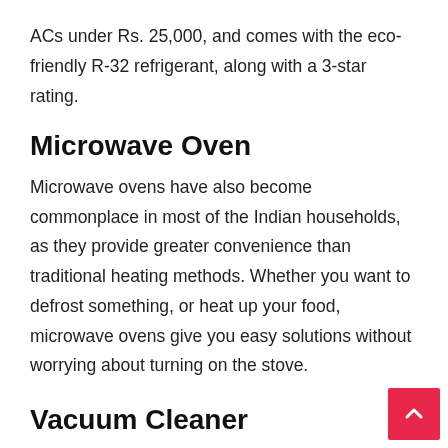ACs under Rs. 25,000, and comes with the eco-friendly R-32 refrigerant, along with a 3-star rating.
Microwave Oven
Microwave ovens have also become commonplace in most of the Indian households, as they provide greater convenience than traditional heating methods. Whether you want to defrost something, or heat up your food, microwave ovens give you easy solutions without worrying about turning on the stove.
Vacuum Cleaner